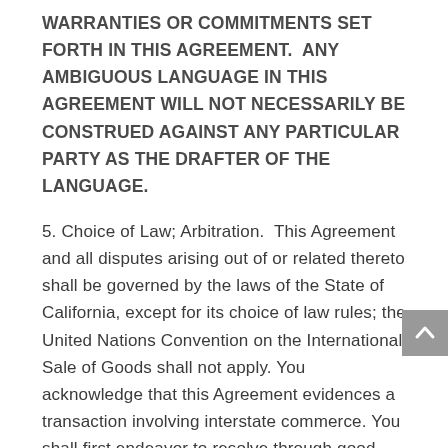WARRANTIES OR COMMITMENTS SET FORTH IN THIS AGREEMENT.  ANY AMBIGUOUS LANGUAGE IN THIS AGREEMENT WILL NOT NECESSARILY BE CONSTRUED AGAINST ANY PARTICULAR PARTY AS THE DRAFTER OF THE LANGUAGE.
5. Choice of Law; Arbitration.  This Agreement and all disputes arising out of or related thereto shall be governed by the laws of the State of California, except for its choice of law rules; the United Nations Convention on the International Sale of Goods shall not apply. You acknowledge that this Agreement evidences a transaction involving interstate commerce. You shall first endeavor to resolve through good faith negotiations any dispute arising under or related to this Agreement. If a dispute cannot be resolved through good faith negotiations within a reasonable time, You may request non-binding mediation by a mediator.